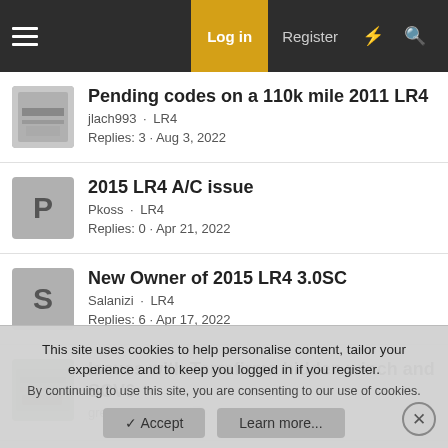Log in | Register
Pending codes on a 110k mile 2011 LR4 — jlach993 · LR4 — Replies: 3 · Aug 3, 2022
2015 LR4 A/C issue — Pkoss · LR4 — Replies: 0 · Apr 21, 2022
New Owner of 2015 LR4 3.0SC — Salanizi · LR4 — Replies: 6 · Apr 17, 2022
Issues with Terrafirma hidden winch and SCV6 — greiswig · LR4 — 2
This site uses cookies to help personalise content, tailor your experience and to keep you logged in if you register. By continuing to use this site, you are consenting to our use of cookies.